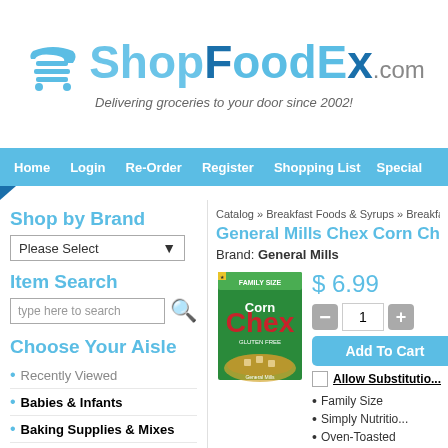[Figure (logo): ShopFoodEx.com logo with shopping cart icon and tagline 'Delivering groceries to your door since 2002!']
Home  Login  Re-Order  Register  Shopping List  Specials
Shop by Brand
Please Select (dropdown)
Item Search
type here to search
Choose Your Aisle
Recently Viewed
Babies & Infants
Baking Supplies & Mixes
Beverages
Catalog » Breakfast Foods & Syrups » Breakfast ...
General Mills Chex Corn Che...
Brand: General Mills
[Figure (photo): General Mills Corn Chex Family Size cereal box]
$ 6.99
Quantity: 1
Add To Cart
Allow Substitution
Family Size
Simply Nutritio...
Oven-Toasted